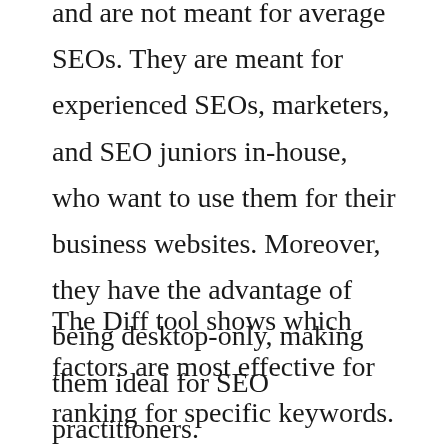and are not meant for average SEOs. They are meant for experienced SEOs, marketers, and SEO juniors in-house, who want to use them for their business websites. Moreover, they have the advantage of being desktop-only, making them ideal for SEO practitioners.
The Diff tool shows which factors are most effective for ranking for specific keywords. This tool also shows which factors changed and which didn't, which allows you to make changes if needed. For example, if an